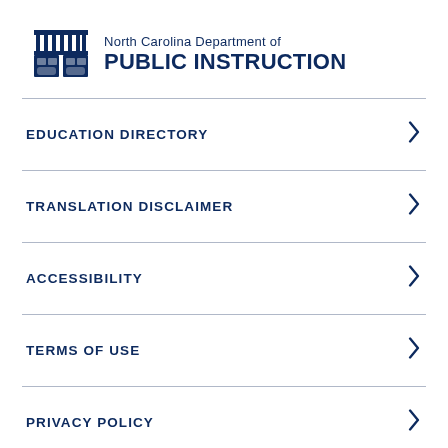[Figure (logo): North Carolina Department of Public Instruction logo with building/seal icon and text]
EDUCATION DIRECTORY
TRANSLATION DISCLAIMER
ACCESSIBILITY
TERMS OF USE
PRIVACY POLICY